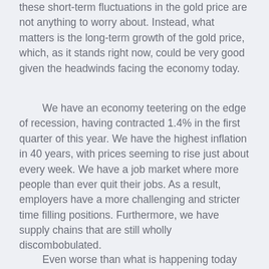these short-term fluctuations in the gold price are not anything to worry about. Instead, what matters is the long-term growth of the gold price, which, as it stands right now, could be very good given the headwinds facing the economy today.
We have an economy teetering on the edge of recession, having contracted 1.4% in the first quarter of this year. We have the highest inflation in 40 years, with prices seeming to rise just about every week. We have a job market where more people than ever quit their jobs. As a result, employers have a more challenging and stricter time filling positions. Furthermore, we have supply chains that are still wholly discombobulated.
Even worse than what is happening today